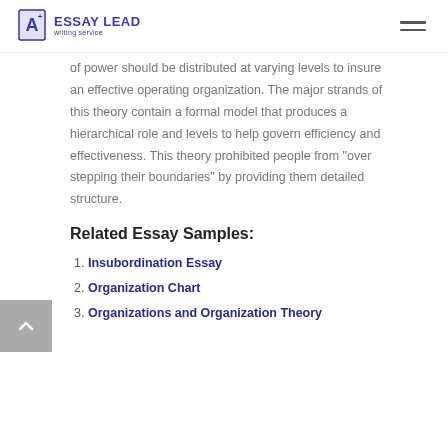ESSAY LEAD writing service
of power should be distributed at varying levels to insure an effective operating organization. The major strands of this theory contain a formal model that produces a hierarchical role and levels to help govern efficiency and effectiveness. This theory prohibited people from “over stepping their boundaries” by providing them detailed structure.
Related Essay Samples:
Insubordination Essay
Organization Chart
Organizations and Organization Theory